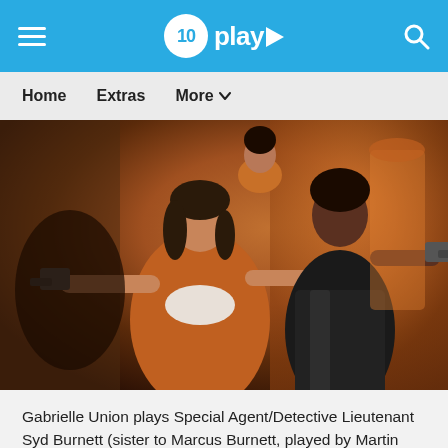10 play
[Figure (photo): Two women pointing guns in an action scene. The woman in front wears an orange blazer over a white top and holds a pistol. The woman behind her wears a black metallic dress and also holds a gun. The background features warm amber/orange tones suggesting an indoor setting.]
Gabrielle Union plays Special Agent/Detective Lieutenant Syd Burnett (sister to Marcus Burnett, played by Martin Lawrence in the movie franchise), and Jessica Alba is Detective Lieutenant Nancy McKenna. While